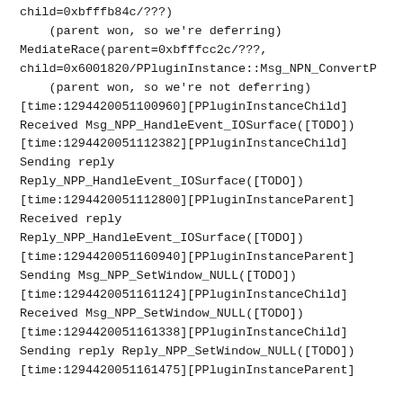child=0xbfffb84c/???)
    (parent won, so we're deferring)
MediateRace(parent=0xbfffcc2c/???,
child=0x6001820/PPluginInstance::Msg_NPN_ConvertP
    (parent won, so we're not deferring)
[time:1294420051100960][PPluginInstanceChild]
Received Msg_NPP_HandleEvent_IOSurface([TODO])
[time:1294420051112382][PPluginInstanceChild]
Sending reply
Reply_NPP_HandleEvent_IOSurface([TODO])
[time:1294420051112800][PPluginInstanceParent]
Received reply
Reply_NPP_HandleEvent_IOSurface([TODO])
[time:1294420051160940][PPluginInstanceParent]
Sending Msg_NPP_SetWindow_NULL([TODO])
[time:1294420051161124][PPluginInstanceChild]
Received Msg_NPP_SetWindow_NULL([TODO])
[time:1294420051161338][PPluginInstanceChild]
Sending reply Reply_NPP_SetWindow_NULL([TODO])
[time:1294420051161475][PPluginInstanceParent]